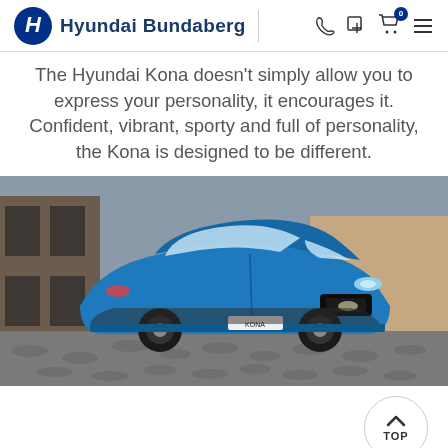Hyundai Bundaberg
The Hyundai Kona doesn't simply allow you to express your personality, it encourages it. Confident, vibrant, sporty and full of personality, the Kona is designed to be different.
[Figure (photo): Blue Hyundai Kona SUV parked on a cobblestone street in front of a brick building, photographed from the front-left angle.]
TOP